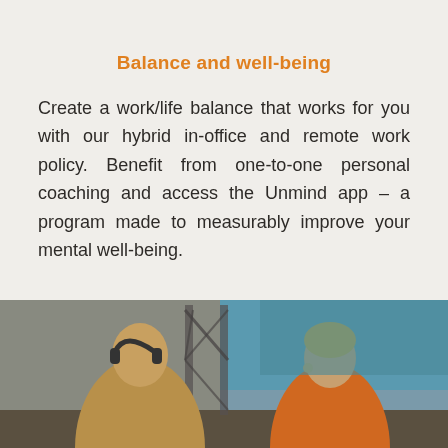Balance and well-being
Create a work/life balance that works for you with our hybrid in-office and remote work policy. Benefit from one-to-one personal coaching and access the Unmind app – a program made to measurably improve your mental well-being.
[Figure (photo): Two people outdoors, one wearing headphones on the left and one in an orange jacket on the right, with industrial structures and sky in the background.]